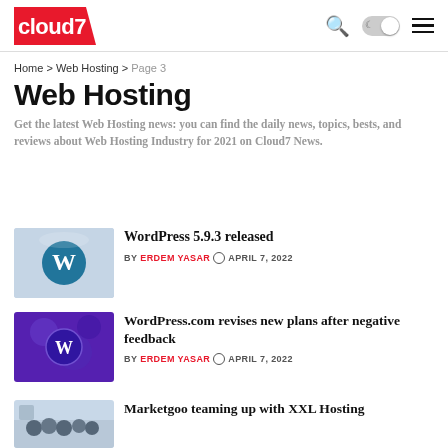cloud7
Home > Web Hosting > Page 3
Web Hosting
Get the latest Web Hosting news: you can find the daily news, topics, bests, and reviews about Web Hosting Industry for 2021 on Cloud7 News.
[Figure (photo): WordPress logo on hand]
WordPress 5.9.3 released
BY ERDEM YASAR  APRIL 7, 2022
[Figure (photo): WordPress.com purple glowing logo]
WordPress.com revises new plans after negative feedback
BY ERDEM YASAR  APRIL 7, 2022
[Figure (photo): Marketgoo team photo]
Marketgoo teaming up with XXL Hosting